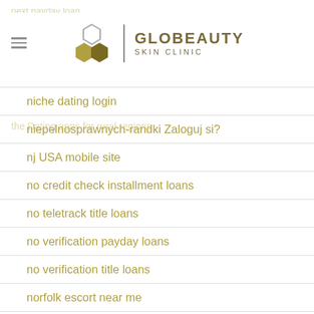GLOBEAUTY SKIN CLINIC
next payday loan
the Dating apps for rural regions
niche dating login
niepelnosprawnych-randki Zaloguj si?
nj USA mobile site
no credit check installment loans
no teletrack title loans
no verification payday loans
no verification title loans
norfolk escort near me
norfolk sign in
north-carolina-dating review
norwalk escort near me